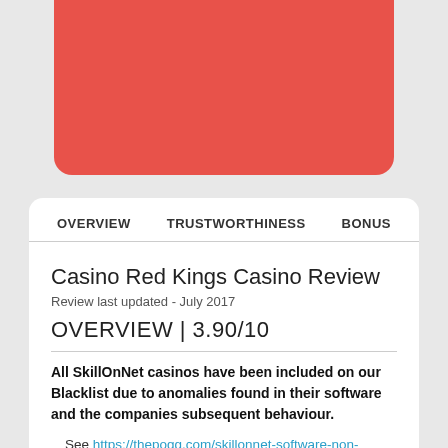[Figure (illustration): Red rounded rectangle card/banner at the top of the page]
OVERVIEW   TRUSTWORTHINESS   BONUS
Casino Red Kings Casino Review
Review last updated - July 2017
OVERVIEW | 3.90/10
All SkillOnNet casinos have been included on our Blacklist due to anomalies found in their software and the companies subsequent behaviour.
See https://thepogg.com/skillonnet-software-non-randomnot-fair/ for further details.